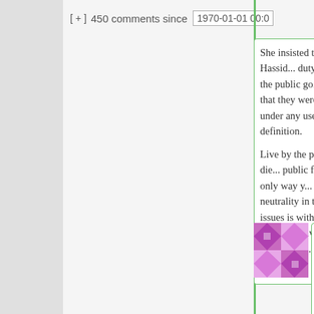[ + ]  450 comments since  1970-01-01 00:0
She insisted that the Hassid... duty to look to the public go... insisted that they were the p... under any useful definition.

Live by the public funds, die... public funds. The only way y... have neutrality in these sorts... issues is with a very minima... involved government.
Hide ↑
Held In Escrow s
February 19, 2015 a... am *new*
Most people tend... against the 51% v...